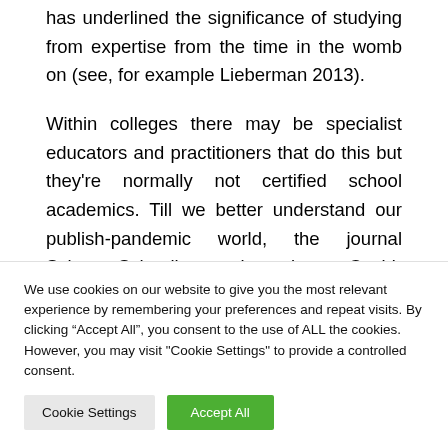has underlined the significance of studying from expertise from the time in the womb on (see, for example Lieberman 2013).
Within colleges there may be specialist educators and practitioners that do this but they're normally not certified school academics. Till we better understand our publish-pandemic world, the journal Science Schooling continues its pre-Covid-19 practices. 4. Edutopia : A stalwart determine of modern and on-line instructional assets. Edutopia
We use cookies on our website to give you the most relevant experience by remembering your preferences and repeat visits. By clicking “Accept All”, you consent to the use of ALL the cookies. However, you may visit "Cookie Settings" to provide a controlled consent.